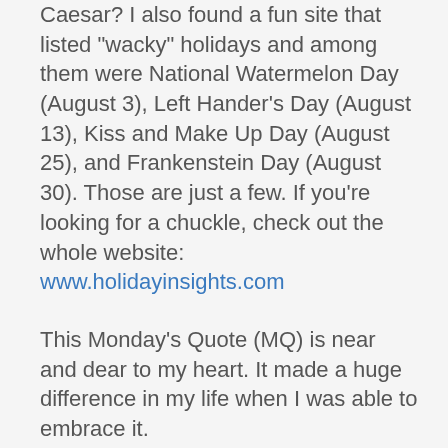Caesar? I also found a fun site that listed "wacky" holidays and among them were National Watermelon Day (August 3), Left Hander's Day (August 13), Kiss and Make Up Day (August 25), and Frankenstein Day (August 30). Those are just a few. If you're looking for a chuckle, check out the whole website: www.holidayinsights.com
This Monday's Quote (MQ) is near and dear to my heart. It made a huge difference in my life when I was able to embrace it.
"Celebrate what others have. It provides evidence of what is possible for you, too.